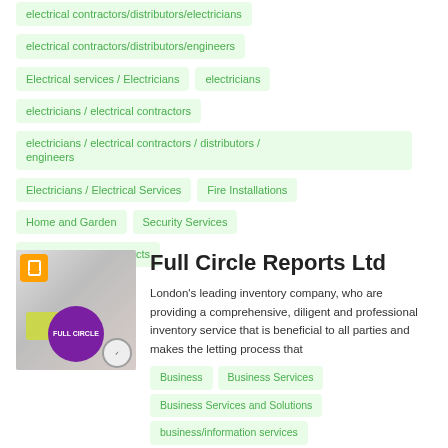electrical contractors/distributors/electricians
electrical contractors/distributors/engineers
Electrical services / Electricians
electricians
electricians / electrical contractors
electricians / electrical contractors / distributors / engineers
Electricians / Electrical Services
Fire Installations
Home and Garden
Security Services
security/security products
Full Circle Reports Ltd
London's leading inventory company, who are providing a comprehensive, diligent and professional inventory service that is beneficial to all parties and makes the letting process that
Business
Business Services
Business Services and Solutions
business/information services